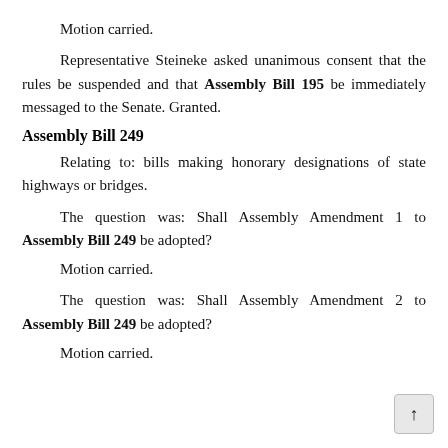Motion carried.
Representative Steineke asked unanimous consent that the rules be suspended and that Assembly Bill 195 be immediately messaged to the Senate. Granted.
Assembly Bill 249
Relating to: bills making honorary designations of state highways or bridges.
The question was: Shall Assembly Amendment 1 to Assembly Bill 249 be adopted?
Motion carried.
The question was: Shall Assembly Amendment 2 to Assembly Bill 249 be adopted?
Motion carried.